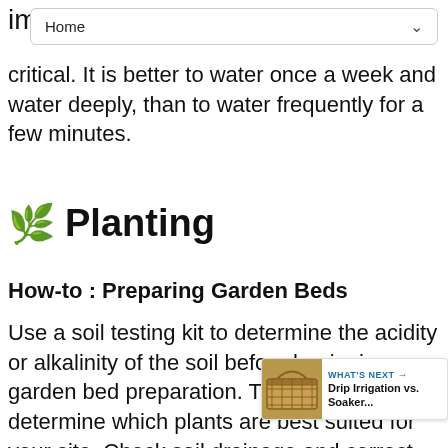Home
critical. It is better to water once a week and water deeply, than to water frequently for a few minutes.
🌱 Planting
How-to : Preparing Garden Beds
Use a soil testing kit to determine the acidity or alkalinity of the soil before beginning any garden bed preparation. This will help you determine which plants are best suited for your site. Check soil drainage and correct any areas where standing water remains. Clear weeds
[Figure (other): What's Next promo card with thumbnail of wicker basket and text: WHAT'S NEXT → Drip Irrigation vs. Soaker...]